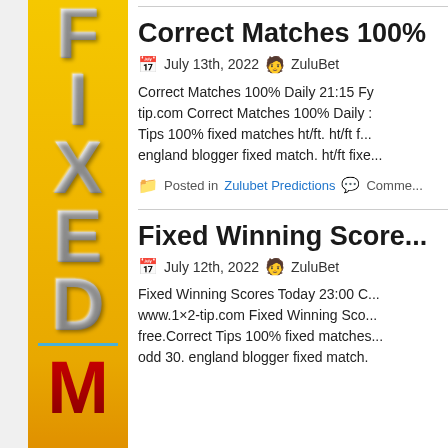[Figure (illustration): Vertical golden/yellow sidebar banner with letters F, I, X, E, D stacked vertically in metallic silver 3D style, a blue horizontal divider line, then M in red metallic style below]
Correct Matches 100%
July 13th, 2022  ZuluBet
Correct Matches 100% Daily 21:15 Fy... tip.com Correct Matches 100% Daily ... Tips 100% fixed matches ht/ft. ht/ft f... england blogger fixed match. ht/ft fixe...
Posted in Zulubet Predictions  Comme...
Fixed Winning Score...
July 12th, 2022  ZuluBet
Fixed Winning Scores Today 23:00 C... www.1×2-tip.com Fixed Winning Sco... free.Correct Tips 100% fixed matches... odd 30. england blogger fixed match.